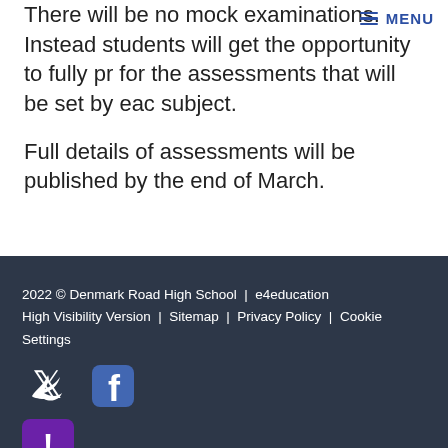There will be no mock examinations. Instead students will get the opportunity to fully pr for the assessments that will be set by eac subject.
Full details of assessments will be published by the end of March.
2022 © Denmark Road High School | e4education High Visibility Version | Sitemap | Privacy Policy | Cookie Settings